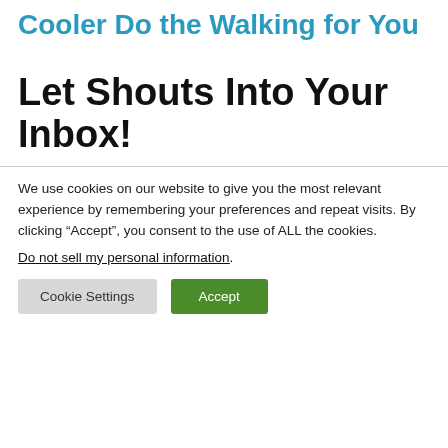Cooler Do the Walking for You
Let Shouts Into Your Inbox!
We use cookies on our website to give you the most relevant experience by remembering your preferences and repeat visits. By clicking “Accept”, you consent to the use of ALL the cookies.
Do not sell my personal information.